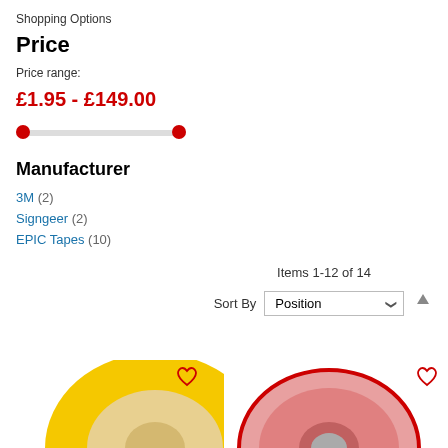Shopping Options
Price
Price range:
£1.95 - £149.00
[Figure (other): Price range slider with red dots at both ends and grey track]
Manufacturer
3M (2)
Signgeer (2)
EPIC Tapes (10)
Items 1-12 of 14
Sort By  Position
[Figure (photo): Yellow tape roll product image]
[Figure (photo): Red tape roll product image]